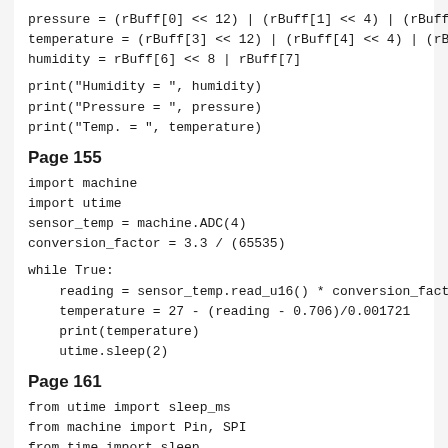pressure = (rBuff[0] << 12) | (rBuff[1] << 4) | (rBuff[2] >> 4)
temperature = (rBuff[3] << 12) | (rBuff[4] << 4) | (rBuff[5] >> 4)
humidity = rBuff[6] << 8 | rBuff[7]
print("Humidity = ", humidity)
print("Pressure = ", pressure)
print("Temp. = ", temperature)
Page 155
import machine
import utime
sensor_temp = machine.ADC(4)
conversion_factor = 3.3 / (65535)
while True:
    reading = sensor_temp.read_u16() * conversion_factor
    temperature = 27 - (reading - 0.706)/0.001721
    print(temperature)
    utime.sleep(2)
Page 161
from utime import sleep_ms
from machine import Pin, SPI
from time import sleep